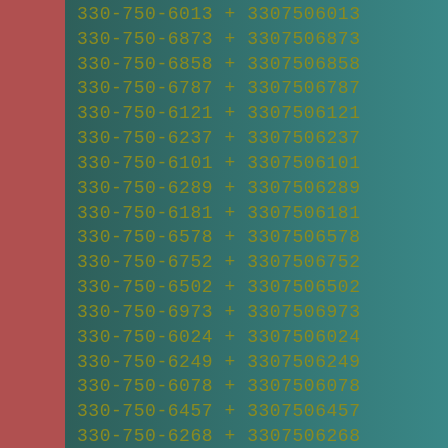330-750-6013 + 3307506013
330-750-6873 + 3307506873
330-750-6858 + 3307506858
330-750-6787 + 3307506787
330-750-6121 + 3307506121
330-750-6237 + 3307506237
330-750-6101 + 3307506101
330-750-6289 + 3307506289
330-750-6181 + 3307506181
330-750-6578 + 3307506578
330-750-6752 + 3307506752
330-750-6502 + 3307506502
330-750-6973 + 3307506973
330-750-6024 + 3307506024
330-750-6249 + 3307506249
330-750-6078 + 3307506078
330-750-6457 + 3307506457
330-750-6268 + 3307506268
330-750-6763 + 3307506763
330-750-6634 + 3307506634
330-750-6852 + 3307506852
330-750-6258 + 3307506258
330-750-6310 + 3307506310